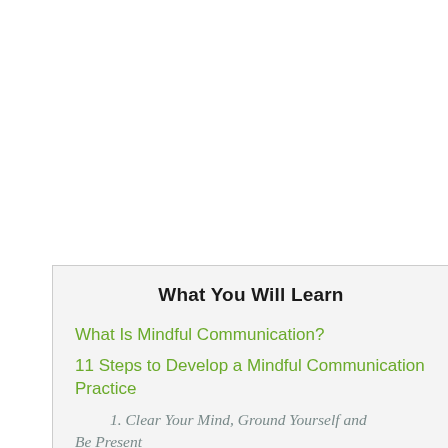What You Will Learn
What Is Mindful Communication?
11 Steps to Develop a Mindful Communication Practice
1. Clear Your Mind, Ground Yourself and Be Present